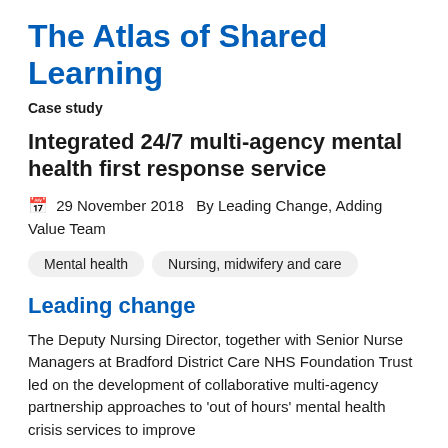The Atlas of Shared Learning
Case study
Integrated 24/7 multi-agency mental health first response service
29 November 2018   By Leading Change, Adding Value Team
Mental health
Nursing, midwifery and care
Leading change
The Deputy Nursing Director, together with Senior Nurse Managers at Bradford District Care NHS Foundation Trust led on the development of collaborative multi-agency partnership approaches to 'out of hours' mental health crisis services to improve